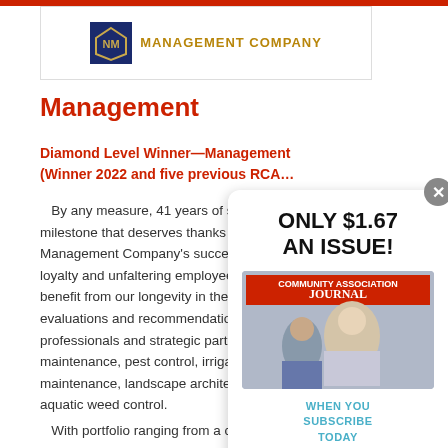[Figure (logo): Management company logo with dark blue emblem and gold text 'MANAGEMENT COMPANY']
Management
Diamond Level Winner—Management (Winner 2022 and five previous RCA…
By any measure, 41 years of ser… milestone that deserves thanks and … Management Company's success is … loyalty and unfaltering employee dec… benefit from our longevity in the indu… evaluations and recommendations fr… professionals and strategic partners … maintenance, pest control, irrigation … maintenance, landscape architecture … aquatic weed control.
With portfolio ranging from a community of 10 units…
[Figure (infographic): Subscription modal overlay showing 'ONLY $1.67 AN ISSUE!' with a magazine cover image, 'WHEN YOU SUBSCRIBE TODAY' text, and a SUBSCRIBE button]